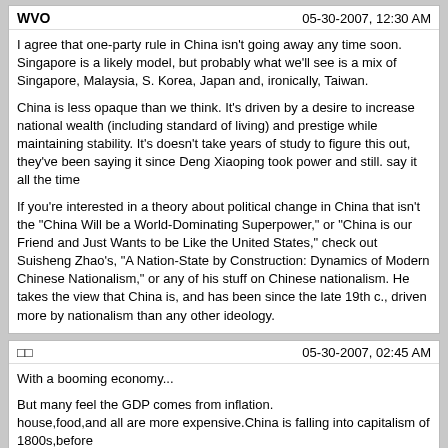WVO | 05-30-2007, 12:30 AM
I agree that one-party rule in China isn't going away any time soon. Singapore is a likely model, but probably what we'll see is a mix of Singapore, Malaysia, S. Korea, Japan and, ironically, Taiwan.
China is less opaque than we think. It's driven by a desire to increase national wealth (including standard of living) and prestige while maintaining stability. It's doesn't take years of study to figure this out, they've been saying it since Deng Xiaoping took power and still. say it all the time
If you're interested in a theory about political change in China that isn't the "China Will be a World-Dominating Superpower," or "China is our Friend and Just Wants to be Like the United States," check out Suisheng Zhao's, "A Nation-State by Construction: Dynamics of Modern Chinese Nationalism," or any of his stuff on Chinese nationalism. He takes the view that China is, and has been since the late 19th c., driven more by nationalism than any other ideology.
□□ | 05-30-2007, 02:45 AM
With a booming economy...
But many feel the GDP comes from inflation.
house,food,and all are more expensive.China is falling into capitalism of 1800s,before
the October Revolution . Many here are envying the captalism in Taiwan,no mentioning Sweden,expecting Ma Yingjiu.
Firestaller | 05-30-2007, 03:49 AM
I agree that one-party rule in China isn't going away any time soon. Singapore is a likely model, but probably what we'll see is a mix of Singapore, Malaysia, S. Korea, Japan and, ironically, Taiwan.
China is less opaque than we think. It's driven by a desire to increase national